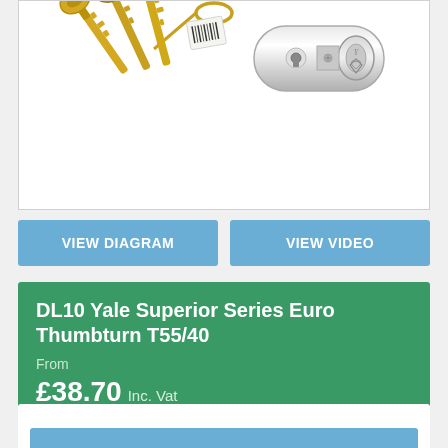[Figure (photo): Product photo of a Yale Superior Series Euro Thumbturn lock cylinder with brass keys on a keyring, shown on a white background.]
VIEW DIAGRAM
VIEW VIDEO
DL10 Yale Superior Series Euro Thumbturn T55/40
From
£38.70 Inc. Vat